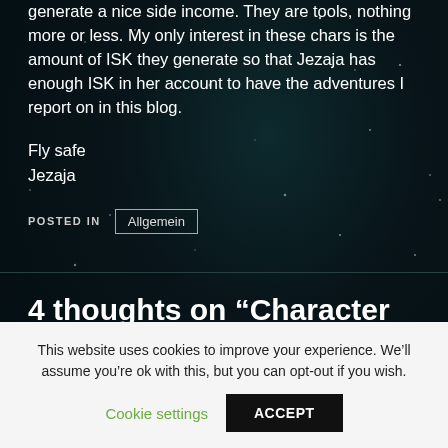generate a nice side income. They are tools, nothing more or less. My only interest in these chars is the amount of ISK they generate so that Jezaja has enough ISK in her account to have the adventures I report on in this blog.
Fly safe
Jezaja
POSTED IN  Allgemein
4 thoughts on “Character progression”
This website uses cookies to improve your experience. We’ll assume you’re ok with this, but you can opt-out if you wish.
Cookie settings  ACCEPT